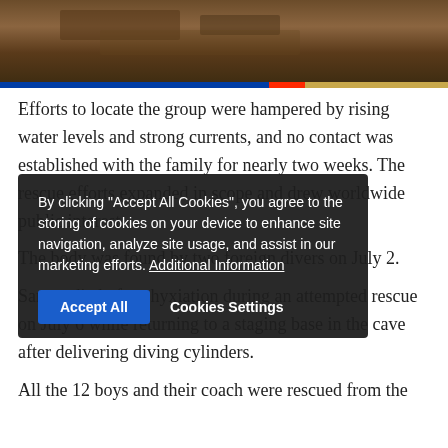[Figure (photo): Aerial or overhead photograph, dark tones, showing what appears to be a cave rescue scene or water rescue operation]
Efforts to locate the group were hampered by rising water levels and strong currents, and no contact was established with the family for nearly two weeks. The rescue efforts expanded in scope and drew worldwide public interest.
The body was found by two foreign divers on July 2.
Saman died of asphyxiation during an attempted rescue on July 6 while returning to a staging base in the cave after delivering diving cylinders.
All the 12 boys and their coach were rescued from the
[Figure (screenshot): Cookie consent overlay dialog with text: By clicking "Accept All Cookies", you agree to the storing of cookies on your device to enhance site navigation, analyze site usage, and assist in our marketing efforts. Additional Information. Buttons: Accept All, Cookies Settings]